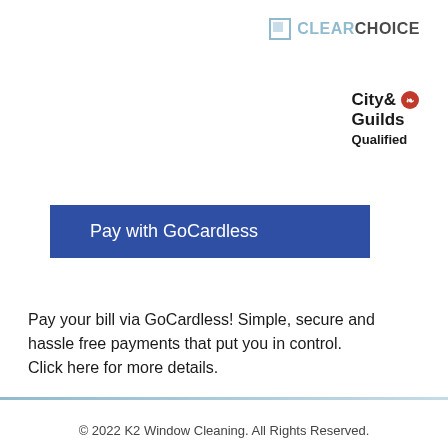[Figure (logo): ClearChoice logo with light blue square icon and text CLEARCHOICE in grey and blue]
[Figure (logo): City & Guilds Qualified logo with red crest icon and bold text]
Pay with GoCardless
Pay your bill via GoCardless! Simple, secure and hassle free payments that put you in control.
Click here for more details.
© 2022 K2 Window Cleaning. All Rights Reserved.